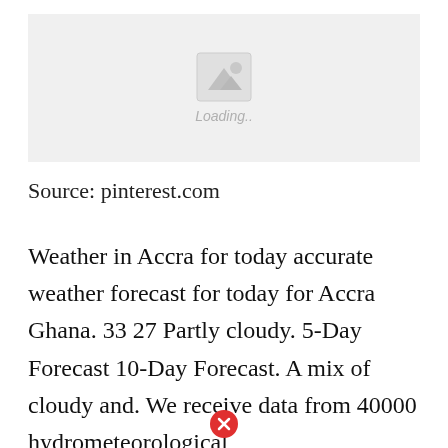[Figure (other): Image loading placeholder with mountain/photo icon and 'Loading..' text on a light grey background]
Source: pinterest.com
Weather in Accra for today accurate weather forecast for today for Accra Ghana. 33 27 Partly cloudy. 5-Day Forecast 10-Day Forecast. A mix of cloudy and. We receive data from 40000 hydrometeorological